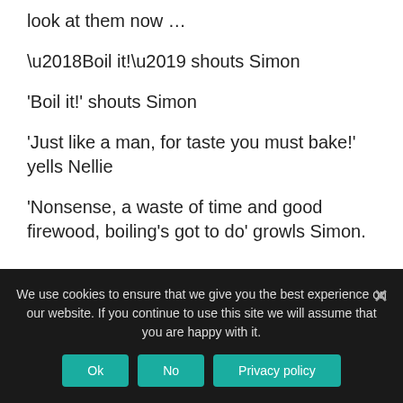look at them now …
‘Boil it!’ shouts Simon
‘Just like a man, for taste you must bake!’ yells Nellie
‘Nonsense, a waste of time and good firewood, boiling’s got to do’ growls Simon.
Oh, poor Simon, maybe that was one growl too many for Nellie’s injured pride. Especially with him waving that besom about in such a threatening manner. But don’t do it, Nellie! Put that chair down
We use cookies to ensure that we give you the best experience on our website. If you continue to use this site we will assume that you are happy with it.